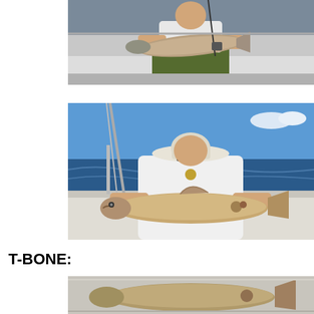[Figure (photo): Person sitting on a boat holding a large fish (redfish/red drum), with a fishing rod visible. White boat interior, green pants.]
[Figure (photo): Man wearing a white shirt and wide-brim sun hat sitting on a boat deck, holding a large redfish/red drum horizontally. Ocean and blue sky visible in background.]
T-BONE:
[Figure (photo): Partial photo of a fish on a boat, cropped at bottom of page.]